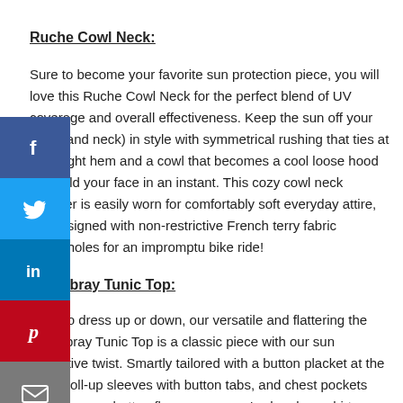Ruche Cowl Neck:
Sure to become your favorite sun protection piece, you will love this Ruche Cowl Neck for the perfect blend of UV coverage and overall effectiveness. Keep the sun off your back (and neck) in style with symmetrical rushing that ties at your right hem and a cowl that becomes a cool loose hood to shield your face in an instant. This cozy cowl neck pullover is easily worn for comfortably soft everyday attire, but designed with non-restrictive French terry fabric thumbholes for an impromptu bike ride!
Chambray Tunic Top:
Easy to dress up or down, our versatile and flattering the Chambray Tunic Top is a classic piece with our sun protective twist. Smartly tailored with a button placket at the neck, roll-up sleeves with button tabs, and chest pockets with a secure button flap, our women's chambray shirt provide relaxing comfort with stylish elegance.